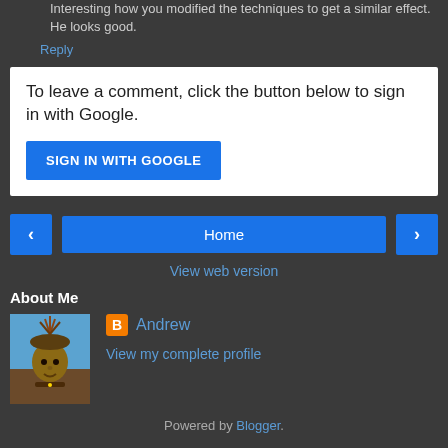Interesting how you modified the techniques to get a similar effect. He looks good.
Reply
To leave a comment, click the button below to sign in with Google.
SIGN IN WITH GOOGLE
Home
View web version
About Me
[Figure (photo): Profile photo of a character with tribal headdress against a blue sky]
Andrew
View my complete profile
Powered by Blogger.